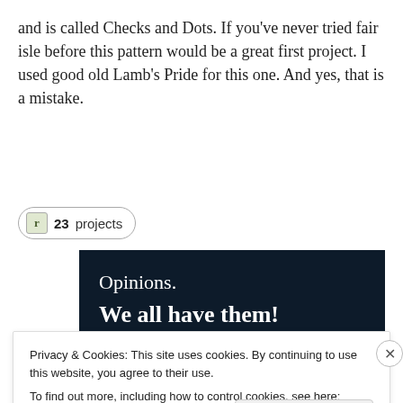and is called Checks and Dots. If you’ve never tried fair isle before this pattern would be a great first project. I used good old Lamb’s Pride for this one. And yes, that is a mistake.
[Figure (other): Button/badge showing Ravelry icon with '23 projects' label, styled as a pill-shaped UI element]
[Figure (screenshot): Dark navy banner advertisement with text 'Opinions. We all have them!' in white serif font, a pink button, and a light gray circle on the right side]
Privacy & Cookies: This site uses cookies. By continuing to use this website, you agree to their use.
To find out more, including how to control cookies, see here: Cookie Policy
[Figure (other): Close button (X) for cookie notice overlay]
[Figure (other): 'Close and accept' button for cookie notice]